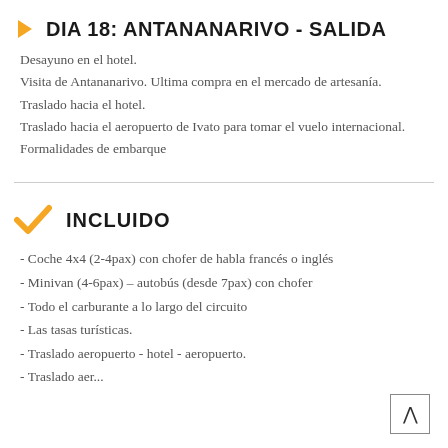DIA 18: ANTANANARIVO - SALIDA
Desayuno en el hotel.
Visita de Antananarivo. Ultima compra en el mercado de artesanía.
Traslado hacia el hotel.
Traslado hacia el aeropuerto de Ivato para tomar el vuelo internacional.
Formalidades de embarque
INCLUIDO
- Coche 4x4 (2-4pax) con chofer de habla francés o inglés
- Minivan (4-6pax) – autobús (desde 7pax) con chofer
- Todo el carburante a lo largo del circuito
- Las tasas turísticas.
- Traslado aeropuerto - hotel - aeropuerto.
- Traslado aeropuerto - hotel - aeropuerto.